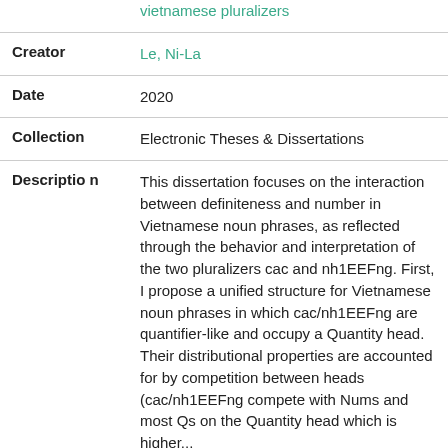| Field | Value |
| --- | --- |
|  | vietnamese pluralizers |
| Creator | Le, Ni-La |
| Date | 2020 |
| Collection | Electronic Theses & Dissertations |
| Description | This dissertation focuses on the interaction between definiteness and number in Vietnamese noun phrases, as reflected through the behavior and interpretation of the two pluralizers cac and nh1EEFng. First, I propose a unified structure for Vietnamese noun phrases in which cac/nh1EEFng are quantifier-like and occupy a Quantity head. Their distributional properties are accounted for by competition between heads (cac/nh1EEFng compete with Nums and most Qs on the Quantity head which is higher... Show more |